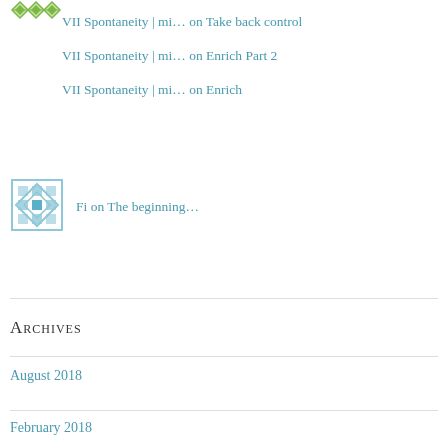[Figure (logo): Green decorative icon/logo at top left]
VII Spontaneity | mi… on Take back control
VII Spontaneity | mi… on Enrich Part 2
VII Spontaneity | mi… on Enrich
[Figure (logo): Blue decorative tile/mosaic avatar icon]
Fi on The beginning…
Archives
August 2018
February 2018